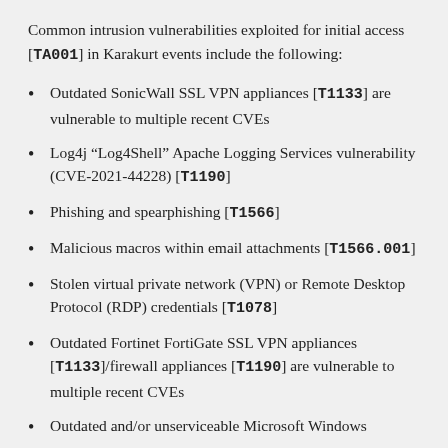Common intrusion vulnerabilities exploited for initial access [TA001] in Karakurt events include the following:
Outdated SonicWall SSL VPN appliances [T1133] are vulnerable to multiple recent CVEs
Log4j “Log4Shell” Apache Logging Services vulnerability (CVE-2021-44228) [T1190]
Phishing and spearphishing [T1566]
Malicious macros within email attachments [T1566.001]
Stolen virtual private network (VPN) or Remote Desktop Protocol (RDP) credentials [T1078]
Outdated Fortinet FortiGate SSL VPN appliances [T1133]/firewall appliances [T1190] are vulnerable to multiple recent CVEs
Outdated and/or unserviceable Microsoft Windows